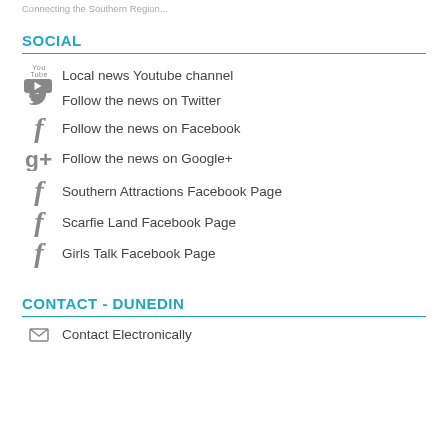Connecting the Southern Region...
SOCIAL
Local news Youtube channel
Follow the news on Twitter
Follow the news on Facebook
Follow the news on Google+
Southern Attractions Facebook Page
Scarfie Land Facebook Page
Girls Talk Facebook Page
CONTACT - DUNEDIN
Contact Electronically